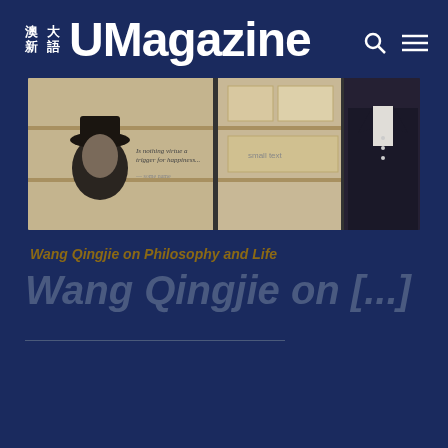澳大新語 UMagazine
[Figure (photo): Photo showing display shelves with a black and white portrait of a man wearing a hat on the left panel, text on shelves, and a person in a dark suit jacket visible on the right side.]
Wang Qingjie on Philosophy and Life
Wang Qingjie on [...]